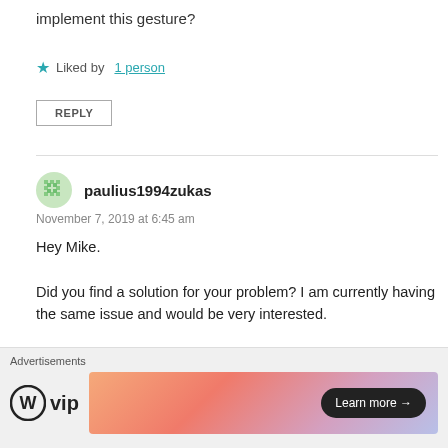implement this gesture?
Liked by 1 person
REPLY
paulius1994zukas
November 7, 2019 at 6:45 am
Hey Mike.

Did you find a solution for your problem? I am currently having the same issue and would be very interested.
Like
Advertisements
[Figure (logo): WordPress VIP logo with WP circle icon and 'vip' text]
[Figure (other): Colorful gradient advertisement banner with 'Learn more →' button]